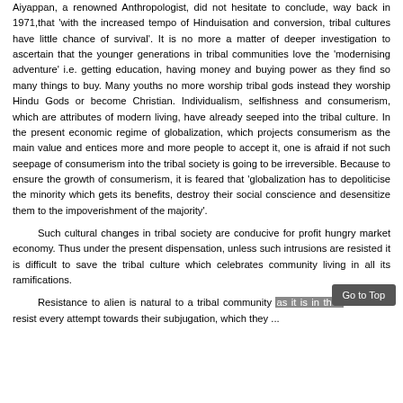Aiyappan, a renowned Anthropologist, did not hesitate to conclude, way back in 1971,that 'with the increased tempo of Hinduisation and conversion, tribal cultures have little chance of survival'. It is no more a matter of deeper investigation to ascertain that the younger generations in tribal communities love the 'modernising adventure' i.e. getting education, having money and buying power as they find so many things to buy. Many youths no more worship tribal gods instead they worship Hindu Gods or become Christian. Individualism, selfishness and consumerism, which are attributes of modern living, have already seeped into the tribal culture. In the present economic regime of globalization, which projects consumerism as the main value and entices more and more people to accept it, one is afraid if not such seepage of consumerism into the tribal society is going to be irreversible. Because to ensure the growth of consumerism, it is feared that 'globalization has to depoliticise the minority which gets its benefits, destroy their social conscience and desensitize them to the impoverishment of the majority'.
Such cultural changes in tribal society are conducive for profit hungry market economy. Thus under the present dispensation, unless such intrusions are resisted it is difficult to save the tribal culture which celebrates community living in all its ramifications.
Resistance to alien is natural to a tribal community as it is in their culture to resist every attempt towards their subjugation, which they ...